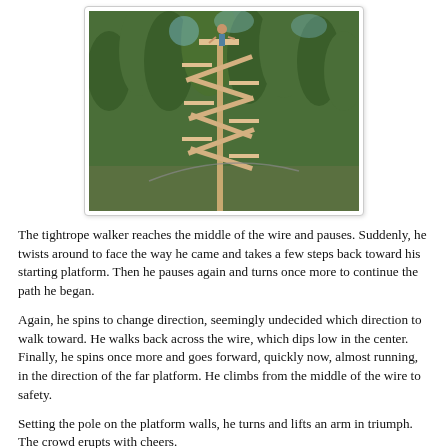[Figure (photo): A person standing on a high wooden platform structure in a forest, with trees in the background. The structure appears to be a tall tightrope or zipline platform made of wooden planks.]
The tightrope walker reaches the middle of the wire and pauses. Suddenly, he twists around to face the way he came and takes a few steps back toward his starting platform. Then he pauses again and turns once more to continue the path he began.
Again, he spins to change direction, seemingly undecided which direction to walk toward. He walks back across the wire, which dips low in the center. Finally, he spins once more and goes forward, quickly now, almost running, in the direction of the far platform. He climbs from the middle of the wire to safety.
Setting the pole on the platform walls, he turns and lifts an arm in triumph. The crowd erupts with cheers.
The Christian life can seem like a tightrope. We start out confident, leaving our past behind and stepping out in faith onto the new road God has laid for us. Our past at certain...